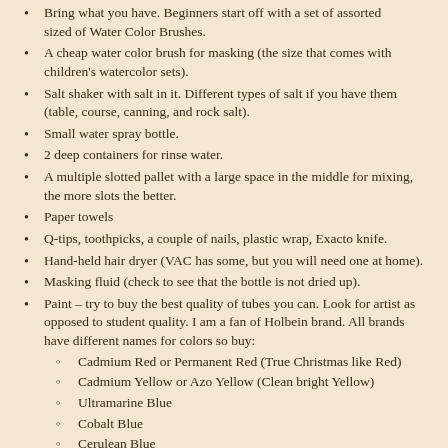Bring what you have. Beginners start off with a set of assorted sized of Water Color Brushes.
A cheap water color brush for masking (the size that comes with children's watercolor sets).
Salt shaker with salt in it. Different types of salt if you have them (table, course, canning, and rock salt).
Small water spray bottle.
2 deep containers for rinse water.
A multiple slotted pallet with a large space in the middle for mixing, the more slots the better.
Paper towels
Q-tips, toothpicks, a couple of nails, plastic wrap, Exacto knife.
Hand-held hair dryer (VAC has some, but you will need one at home).
Masking fluid (check to see that the bottle is not dried up).
Paint – try to buy the best quality of tubes you can. Look for artist as opposed to student quality. I am a fan of Holbein brand. All brands have different names for colors so buy:
Cadmium Red or Permanent Red (True Christmas like Red)
Cadmium Yellow or Azo Yellow (Clean bright Yellow)
Ultramarine Blue
Cobalt Blue
Cerulean Blue
Alizarin Crimson
Yellow Ochre